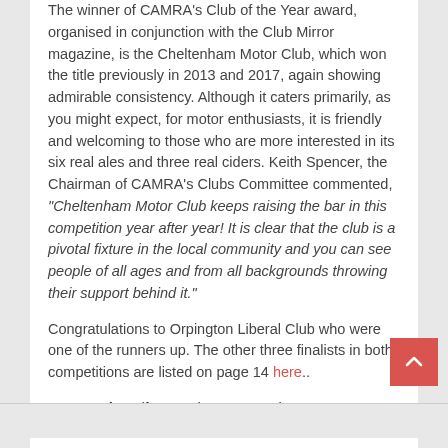The winner of CAMRA's Club of the Year award, organised in conjunction with the Club Mirror magazine, is the Cheltenham Motor Club, which won the title previously in 2013 and 2017, again showing admirable consistency. Although it caters primarily, as you might expect, for motor enthusiasts, it is friendly and welcoming to those who are more interested in its six real ales and three real ciders. Keith Spencer, the Chairman of CAMRA's Clubs Committee commented, "Cheltenham Motor Club keeps raising the bar in this competition year after year! It is clear that the club is a pivotal fixture in the local community and you can see people of all ages and from all backgrounds throwing their support behind it."
Congratulations to Orpington Liberal Club who were one of the runners up. The other three finalists in both competitions are listed on page 14 here..
Tony Hedger (from various sources)